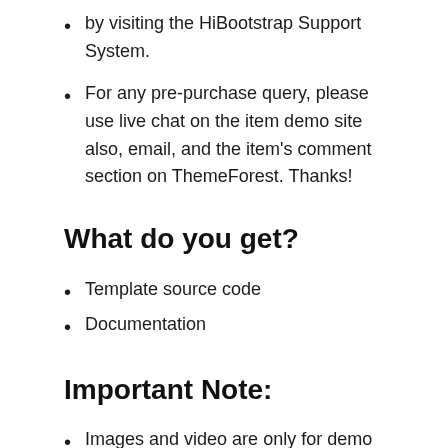by visiting the HiBootstrap Support System.
For any pre-purchase query, please use live chat on the item demo site also, email, and the item's comment section on ThemeForest. Thanks!
What do you get?
Template source code
Documentation
Important Note:
Images and video are only for demo purpose and not included in the download bundle. Please submit a ticket for the assets.